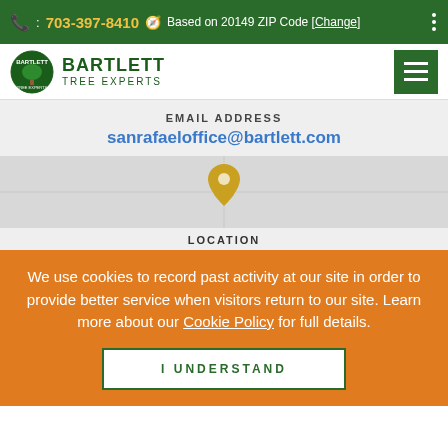: 703-397-8410  Based on 20149 ZIP Code [Change]
[Figure (logo): Bartlett Tree Experts logo — circular emblem with tree and text BARTLETT TREE EXPERTS]
EMAIL ADDRESS
sanrafaeloffice@bartlett.com
[Figure (illustration): Map background with golden location pin marker]
LOCATION
We use cookies to record past activity at our site in order to provide better service when visitors return to our site. Learn more about our Cookie Policy for full details.
I UNDERSTAND